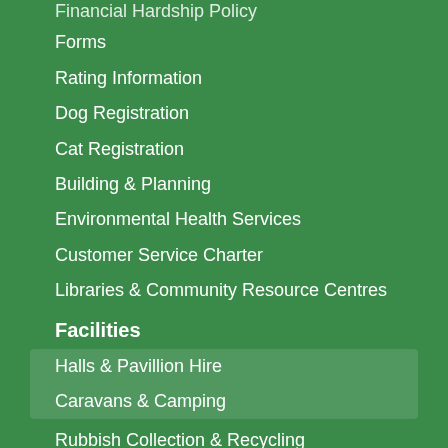Financial Hardship Policy
Forms
Rating Information
Dog Registration
Cat Registration
Building & Planning
Environmental Health Services
Customer Service Charter
Libraries & Community Resource Centres
Facilities
Halls & Pavillion Hire
Caravans & Camping
Rubbish Collection & Recycling
Transport & Licensing Services